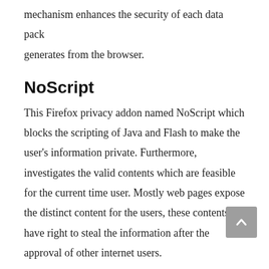mechanism enhances the security of each data pack generates from the browser.
NoScript
This Firefox privacy addon named NoScript which blocks the scripting of Java and Flash to make the user's information private. Furthermore, investigates the valid contents which are feasible for the current time user. Mostly web pages expose the distinct content for the users, these contents have right to steal the information after the approval of other internet users.
The NoScript is a plug-in of Firefox security system in